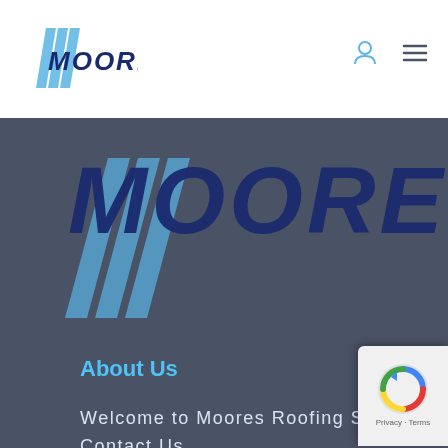MOORES
[Figure (logo): Moores Roofing Supplies large logo with dark blue italic text MOORES and light blue diagonal stripe lines below]
About Us
Welcome to Moores Roofing Supplies
Contact Us
Our Services
Roofing Services
[Figure (logo): reCAPTCHA badge with Privacy and Terms text]